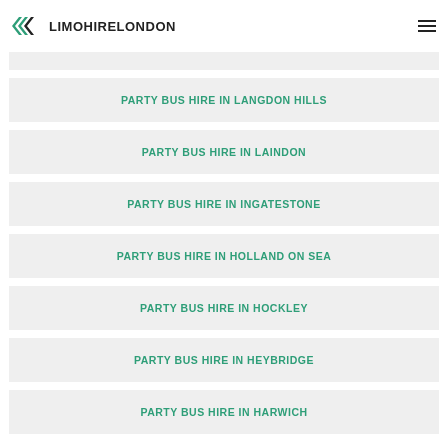LIMOHIRELONDON
PARTY BUS HIRE IN LANGDON HILLS
PARTY BUS HIRE IN LAINDON
PARTY BUS HIRE IN INGATESTONE
PARTY BUS HIRE IN HOLLAND ON SEA
PARTY BUS HIRE IN HOCKLEY
PARTY BUS HIRE IN HEYBRIDGE
PARTY BUS HIRE IN HARWICH